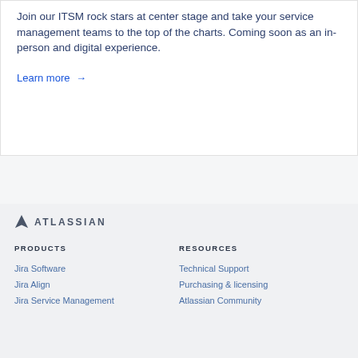Join our ITSM rock stars at center stage and take your service management teams to the top of the charts. Coming soon as an in-person and digital experience.
Learn more →
[Figure (logo): Atlassian logo with triangle icon and text ATLASSIAN]
PRODUCTS
RESOURCES
Jira Software
Technical Support
Jira Align
Purchasing & licensing
Jira Service Management
Atlassian Community